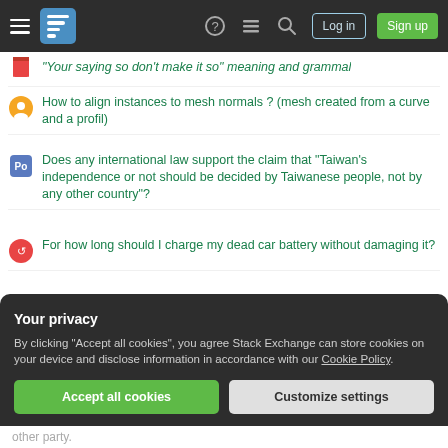Stack Exchange navigation bar with logo, help, chat, search, Log in, Sign up
"Your saying so don't make it so" meaning and grammal
How to align instances to mesh normals ? (mesh created from a curve and a profil)
Does any international law support the claim that "Taiwan's independence or not should be decided by Taiwanese people, not by any other country"?
For how long should I charge my dead car battery without damaging it?
Does this generalization of matrix exponential formula make sense?
Advice on Japanese Maple please
Why do older pistons crank for a while before starting?
Your privacy
By clicking "Accept all cookies", you agree Stack Exchange can store cookies on your device and disclose information in accordance with our Cookie Policy.
Accept all cookies | Customize settings